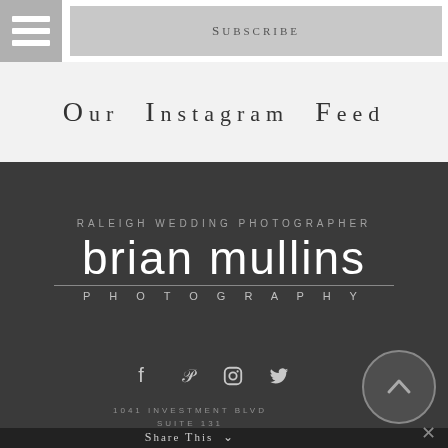Subscribe
Our Instagram feed
[Figure (logo): Brian Mullins Photography logo — white thin-weight logotype on dark background with 'RALEIGH WEDDING PHOTOGRAPHER' above and 'PHOTOGRAPHY' below a horizontal rule]
RALEIGH WEDDING PHOTOGRAPHER
brian mullins
PHOTOGRAPHY
[Figure (other): Social media icons: Facebook, Pinterest, Instagram, Twitter]
1041 INVESTMENT BLVD SUITE 131
Share This